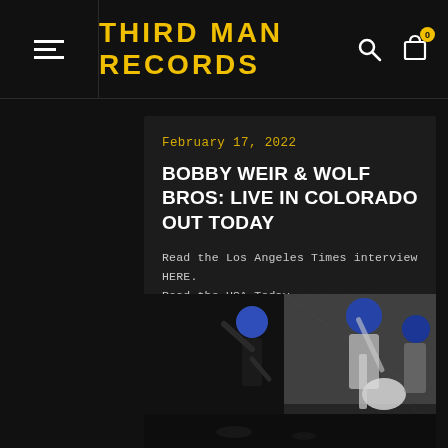THIRD MAN RECORDS
February 17, 2022
BOBBY WEIR & WOLF BROS: LIVE IN COLORADO OUT TODAY
Read the Los Angeles Times interview HERE. Read the USA Today...
[Figure (photo): Black and white photo of band members performing on stage with blue lighting on their heads, one playing guitar]